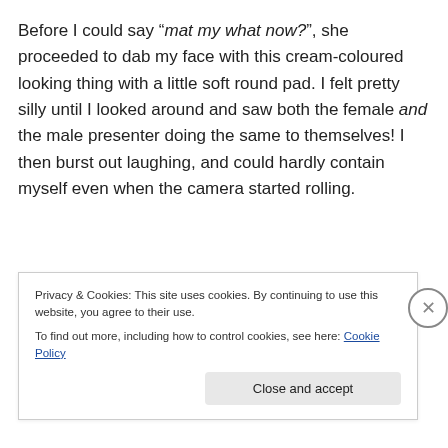Before I could say “mat my what now?”, she proceeded to dab my face with this cream-coloured looking thing with a little soft round pad. I felt pretty silly until I looked around and saw both the female and the male presenter doing the same to themselves! I then burst out laughing, and could hardly contain myself even when the camera started rolling.
Privacy & Cookies: This site uses cookies. By continuing to use this website, you agree to their use.
To find out more, including how to control cookies, see here: Cookie Policy